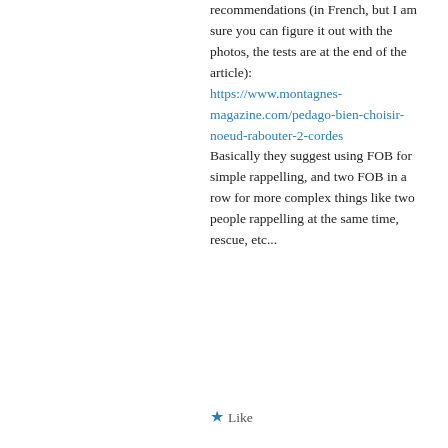recommendations (in French, but I am sure you can figure it out with the photos, the tests are at the end of the article): https://www.montagnes-magazine.com/pedago-bien-choisir-noeud-rabouter-2-cordes Basically they suggest using FOB for simple rappelling, and two FOB in a row for more complex things like two people rappelling at the same time, rescue, etc...
Like